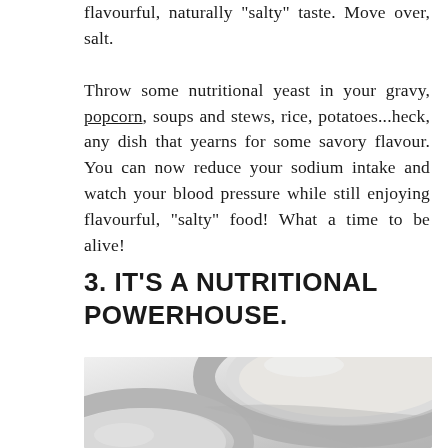flavourful, naturally "salty" taste. Move over, salt.

Throw some nutritional yeast in your gravy, popcorn, soups and stews, rice, potatoes...heck, any dish that yearns for some savory flavour. You can now reduce your sodium intake and watch your blood pressure while still enjoying flavourful, "salty" food! What a time to be alive!
3. IT'S A NUTRITIONAL POWERHOUSE.
[Figure (photo): Close-up photo of white ceramic bowls on a white surface, likely containing a cream or white liquid/soup, soft light photography]